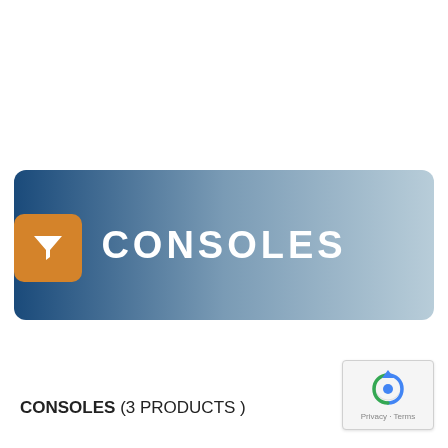[Figure (infographic): A horizontal banner with a blue gradient from dark navy on the left to light steel blue on the right, with rounded corners. An orange rounded square with a white funnel/filter icon is overlaid on the left side. The text 'CONSOLES' appears in large bold white capital letters centered on the banner.]
CONSOLES (3 PRODUCTS )
[Figure (logo): reCAPTCHA badge with circular arrow icon and 'Privacy - Terms' text below]